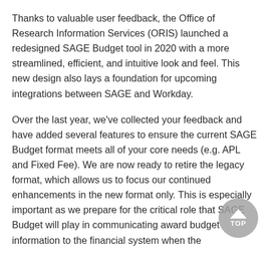Thanks to valuable user feedback, the Office of Research Information Services (ORIS) launched a redesigned SAGE Budget tool in 2020 with a more streamlined, efficient, and intuitive look and feel. This new design also lays a foundation for upcoming integrations between SAGE and Workday.
Over the last year, we've collected your feedback and have added several features to ensure the current SAGE Budget format meets all of your core needs (e.g. APL and Fixed Fee). We are now ready to retire the legacy format, which allows us to focus our continued enhancements in the new format only. This is especially important as we prepare for the critical role that SAGE Budget will play in communicating award budget information to the financial system when the